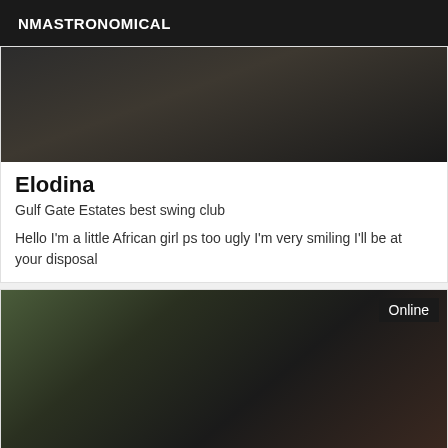NMASTRONOMICAL
[Figure (photo): Close-up photo of a dark surface with a bottle and a pink straw or stick]
Elodina
Gulf Gate Estates best swing club
Hello I'm a little African girl ps too ugly I'm very smiling I'll be at your disposal
[Figure (photo): Photo of a woman in lingerie posing on a leather chair with an 'Online' badge]
beautiful Latin first time on Gulf Gate